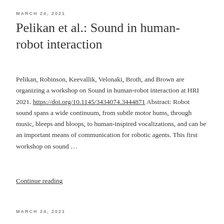MARCH 24, 2021
Pelikan et al.: Sound in human-robot interaction
Pelikan, Robinson, Keevallik, Velonaki, Broth, and Brown are organizing a workshop on Sound in human-robot interaction at HRI 2021. https://doi.org/10.1145/3434074.3444871 Abstract: Robot sound spans a wide continuum, from subtle motor hums, through music, bleeps and bloops, to human-inspired vocalizations, and can be an important means of communication for robotic agents. This first workshop on sound …
Continue reading
MARCH 24, 2021